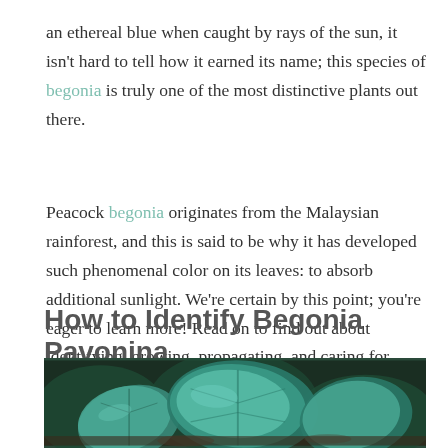an ethereal blue when caught by rays of the sun, it isn't hard to tell how it earned its name; this species of begonia is truly one of the most distinctive plants out there.
Peacock begonia originates from the Malaysian rainforest, and this is said to be why it has developed such phenomenal color on its leaves: to absorb additional sunlight. We're certain by this point; you're eager to learn more! Read on to find out about identifying, growing, propagating, and caring for Begonia pavonina.
How to Identify Begonia Pavonina
[Figure (photo): Close-up photo of Begonia pavonina leaves showing iridescent blue-green coloration against a dark background with soil and other plant material visible.]